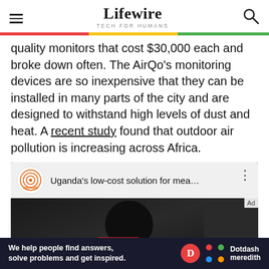Lifewire TECH FOR HUMANS
quality monitors that cost $30,000 each and broke down often. The AirQo's monitoring devices are so inexpensive that they can be installed in many parts of the city and are designed to withstand high levels of dust and heat. A recent study found that outdoor air pollution is increasing across Africa.
[Figure (screenshot): YouTube embed showing Reuters video titled 'Uganda's low-cost solution for mea...' with Reuters logo, three-dot menu, and dark thumbnail showing a person with glasses and a red element.]
We help people find answers, solve problems and get inspired. Dotdash meredith